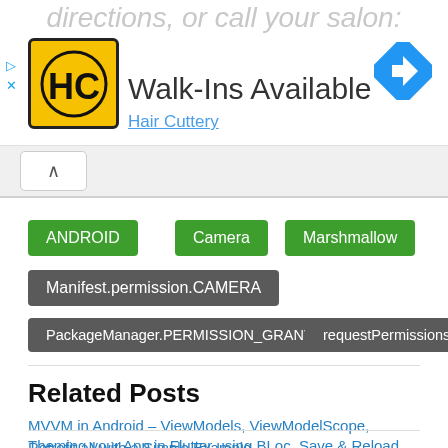[Figure (screenshot): Ad banner for Hair Cuttery with logo, 'Walk-Ins Available' text, navigation icon, and ad controls]
ANDROID
Camera
Marshmallow
Manifest.permission.CAMERA
PackageManager.PERMISSION_GRANTED
requestPermissions
Related Posts
MVVM in Android – ViewModels, ViewModelScope, Retrofit all with a Simple Example.
Theming your App in Flutter using BLoc, Save & Reload